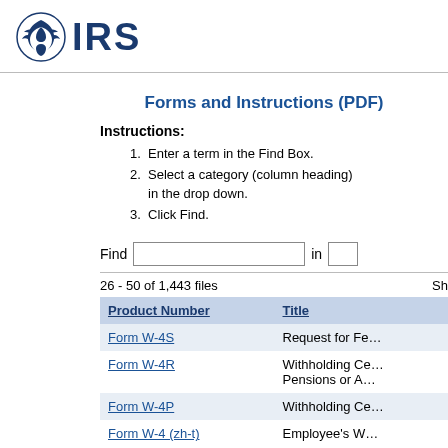IRS
Forms and Instructions (PDF)
Instructions:
Enter a term in the Find Box.
Select a category (column heading) in the drop down.
Click Find.
26 - 50 of 1,443 files
| Product Number | Title |
| --- | --- |
| Form W-4S | Request for Fe… |
| Form W-4R | Withholding Ce… Pensions or A… |
| Form W-4P | Withholding Ce… |
| Form W-4 (zh-t) | Employee's W… |